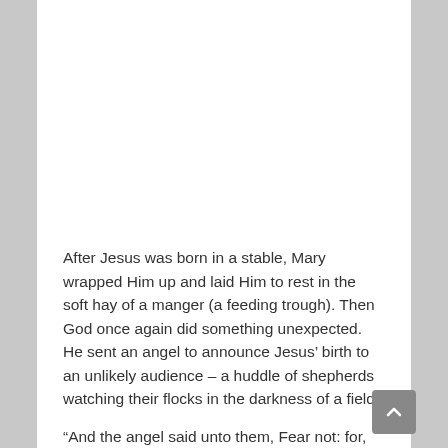After Jesus was born in a stable, Mary wrapped Him up and laid Him to rest in the soft hay of a manger (a feeding trough). Then God once again did something unexpected. He sent an angel to announce Jesus' birth to an unlikely audience – a huddle of shepherds watching their flocks in the darkness of a field:
“And the angel said unto them, Fear not: for, behold, I bring you good tidings of great joy, which